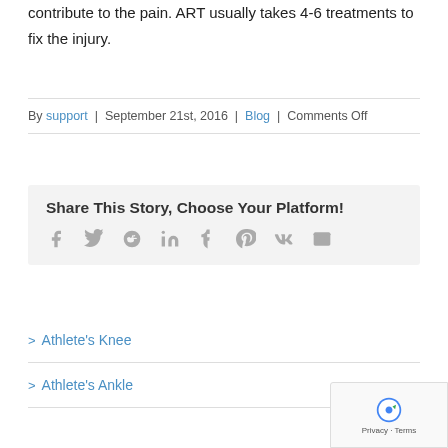contribute to the pain. ART usually takes 4-6 treatments to fix the injury.
By support | September 21st, 2016 | Blog | Comments Off
Share This Story, Choose Your Platform!
[Figure (other): Social sharing icons: Facebook, Twitter, Reddit, LinkedIn, Tumblr, Pinterest, Vk, Email]
> Athlete's Knee
> Athlete's Ankle